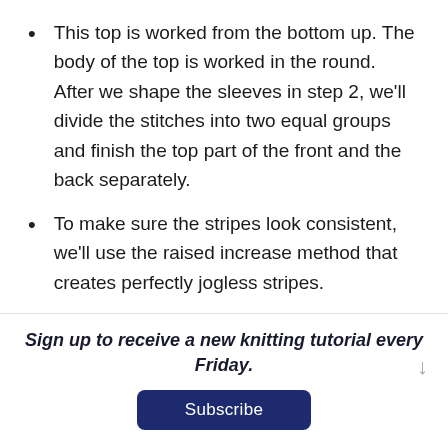This top is worked from the bottom up. The body of the top is worked in the round. After we shape the sleeves in step 2, we'll divide the stitches into two equal groups and finish the top part of the front and the back separately.
To make sure the stripes look consistent, we'll use the raised increase method that creates perfectly jogless stripes.
Sign up to receive a new knitting tutorial every Friday.